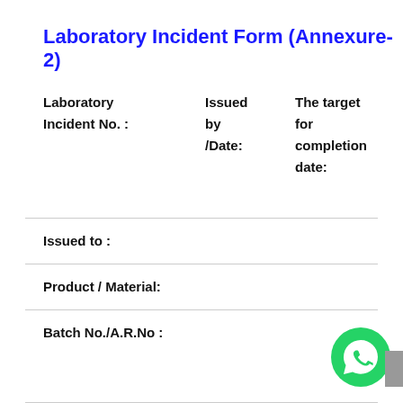Laboratory Incident Form (Annexure-2)
Laboratory Incident No. :    Issued by /Date:    The target for completion date:
Issued to :
Product / Material:
Batch No./A.R.No :